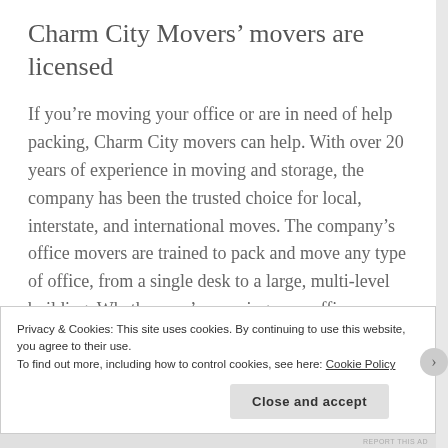Charm City Movers’ movers are licensed
If you’re moving your office or are in need of help packing, Charm City movers can help. With over 20 years of experience in moving and storage, the company has been the trusted choice for local, interstate, and international moves. The company’s office movers are trained to pack and move any type of office, from a single desk to a large, multi-level building. Whether you’re moving your office or home, you’ll have a stress-free move from Charm City Movers.
Privacy & Cookies: This site uses cookies. By continuing to use this website, you agree to their use.
To find out more, including how to control cookies, see here: Cookie Policy